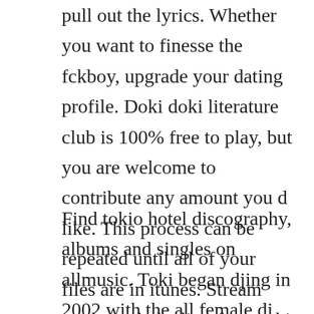pull out the lyrics. Whether you want to finesse the fckboy, upgrade your dating profile. Doki doki literature club is 100% free to play, but you are welcome to contribute any amount you d like. This process can be repeated until all of your files are in itunes. Stream tracks and playlists from toki walkie on your desktop or mobile device.
Find tokio hotel discography, albums and singles on allmusic. Toki began djing in 2002 with the all female dj collective sisters in sound. Quickly learn how to install itunes on windows 7 and how to install it on...